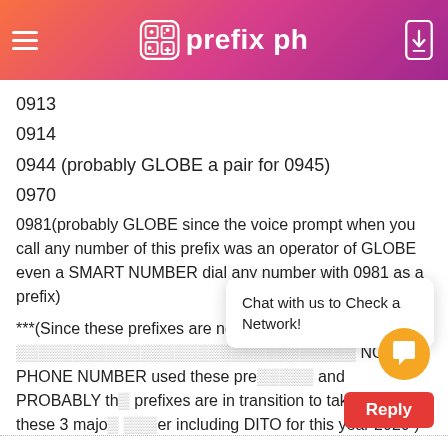prefix ph
0913
0914
0944 (probably GLOBE a pair for 0945)
0970
0981(probably GLOBE since the voice prompt when you call any number of this prefix was an operator of GLOBE even a SMART NUMBER dial any number with 0981 as a prefix)
***(Since these prefixes are not [visible - obscured] NO PHONE NUMBER used these prefixes and PROBABLY the prefixes are in transition to take up any of these 3 major [player] including DITO for this year 2020 )
[Figure (other): Chat with us to Check a Network! popup with orange chat bubble and red Reply button]